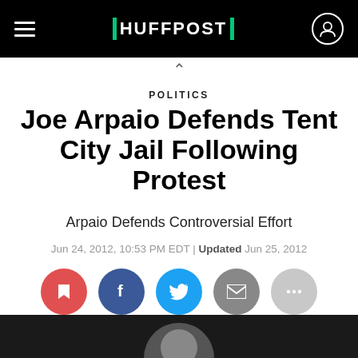HUFFPOST
POLITICS
Joe Arpaio Defends Tent City Jail Following Protest
Arpaio Defends Controversial Effort
Jun 24, 2012, 10:53 PM EDT | Updated Jun 25, 2012
[Figure (infographic): Social sharing buttons: bookmark (red), Facebook (dark blue), Twitter (light blue), email (gray), more (light gray)]